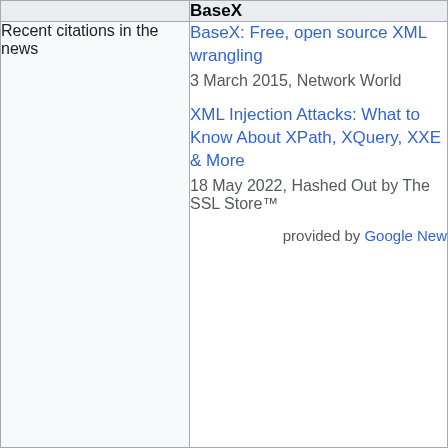|  | BaseX |
| --- | --- |
| Recent citations in the news | BaseX: Free, open source XML wrangling
3 March 2015, Network World

XML Injection Attacks: What to Know About XPath, XQuery, XXE & More
18 May 2022, Hashed Out by The SSL Store™

provided by Google News |